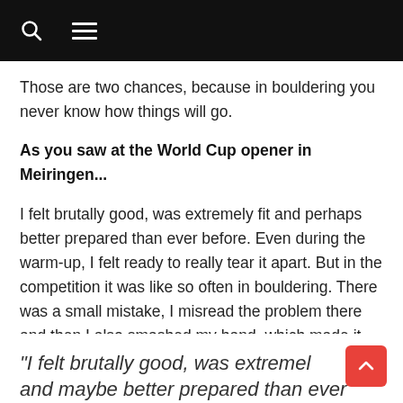[navigation bar with search and menu icons]
Those are two chances, because in bouldering you never know how things will go.
As you saw at the World Cup opener in Meiringen...
I felt brutally good, was extremely fit and perhaps better prepared than ever before. Even during the warm-up, I felt ready to really tear it apart. But in the competition it was like so often in bouldering. There was a small mistake, I misread the problem there and then I also smashed my hand, which made it extremely difficult mentally.
"I felt brutally good, was extremel and maybe better prepared than ever